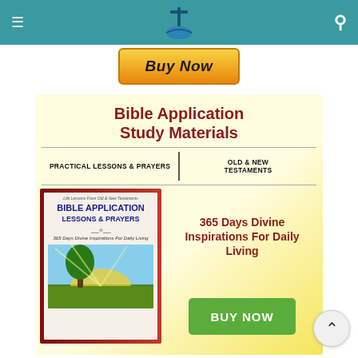Bible Arena website header with hamburger menu, logo, and search icon
[Figure (illustration): Orange gradient 'Buy Now' button with bold italic text]
[Figure (illustration): Advertisement banner for 'Bible Application Study Materials' with book cover image, subtitle 'Practical Lessons & Prayers | Old & New Testaments', '365 Days Divine Inspirations For Daily Living', and green 'BUY NOW' button]